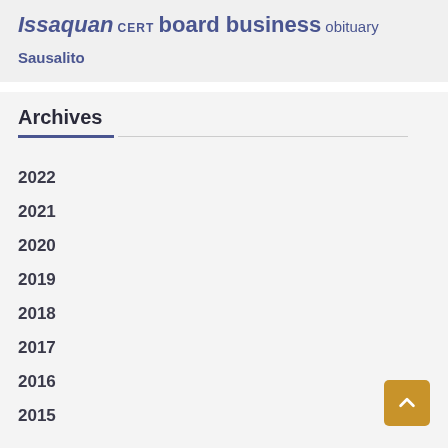Issaquan CERT board business obituary
Sausalito
Archives
2022
2021
2020
2019
2018
2017
2016
2015